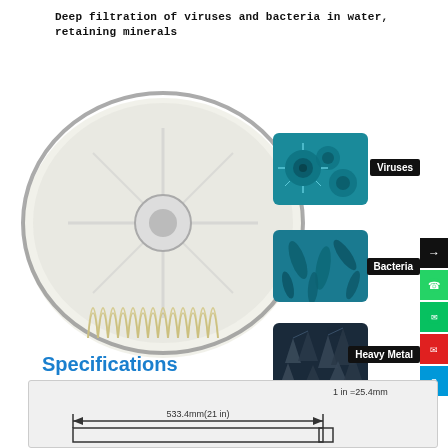Deep filtration of viruses and bacteria in water, retaining minerals
[Figure (photo): Water filter product image showing white disc filter element and pleated filter membrane, with microscope images of Viruses, Bacteria, and Heavy Metal labeled on the right side]
Specifications
[Figure (engineering-diagram): Technical drawing showing filter dimensions: 533.4mm (21 in) width, with note 1 in = 25.4mm]